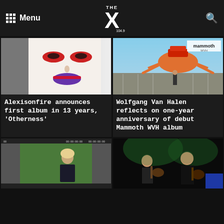THE X 104.9 — Menu / Search
Related Articles
[Figure (photo): Album cover art: stylized face with dramatic makeup (Alexisonfire Otherness)]
Alexisonfire announces first album in 13 years, 'Otherness'
[Figure (photo): Album cover art: Mammoth WVH debut album showing a person standing in a parking lot with a giant crab overhead]
Wolfgang Van Halen reflects on one-year anniversary of debut Mammoth WVH album
[Figure (photo): Person posing on a green screen / music video set]
[Figure (photo): Two musicians performing on stage under green lighting]